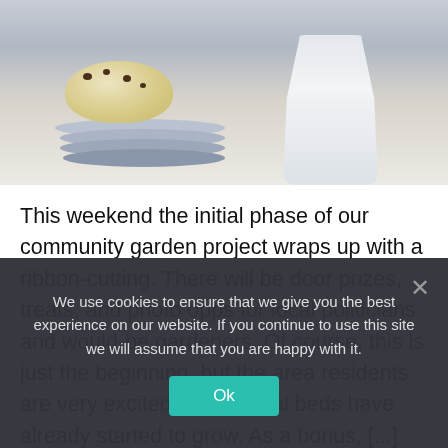[Figure (photo): A food photo showing a baked scone or biscuit with dark spots (blueberry or similar) resting on a stack of blue-grey ceramic plates, with a white vase or mug partially visible on the right, against a light background.]
This weekend the initial phase of our community garden project wraps up with a ribbon-cutting. There will be door prizes, treats, and photo opps for local politicians and would-be gardeners. Of course, this is just the beginning, but the area residents are very excited and several beds have already started to grow. As a bonus, [...]
We use cookies to ensure that we give you the best experience on our website. If you continue to use this site we will assume that you are happy with it.